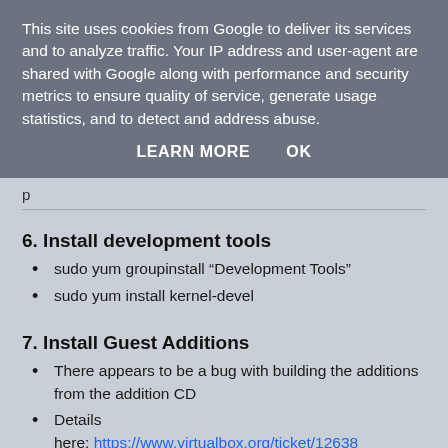This site uses cookies from Google to deliver its services and to analyze traffic. Your IP address and user-agent are shared with Google along with performance and security metrics to ensure quality of service, generate usage statistics, and to detect and address abuse.
LEARN MORE   OK
6. Install development tools
sudo yum groupinstall “Development Tools”
sudo yum install kernel-devel
7. Install Guest Additions
There appears to be a bug with building the additions from the addition CD
Details here: https://www.virtualbox.org/ticket/12638
Matthew Casperson has kindly made a patched